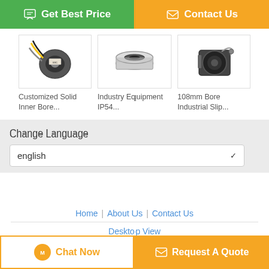[Figure (screenshot): Green 'Get Best Price' button with chat icon]
[Figure (screenshot): Orange 'Contact Us' button with envelope icon]
[Figure (photo): Customized Solid Inner Bore slip ring product photo]
Customized Solid Inner Bore...
[Figure (photo): Industry Equipment IP54 slip ring product photo]
Industry Equipment IP54...
[Figure (photo): 108mm Bore Industrial Slip ring product photo]
108mm Bore Industrial Slip...
Change Language
english
Home | About Us | Contact Us
Desktop View
Copyright © 2019 - 2022 industrialslipring.com. All rights reserved.
[Figure (screenshot): Orange 'Chat Now' button]
[Figure (screenshot): Orange 'Request A Quote' button with envelope icon]